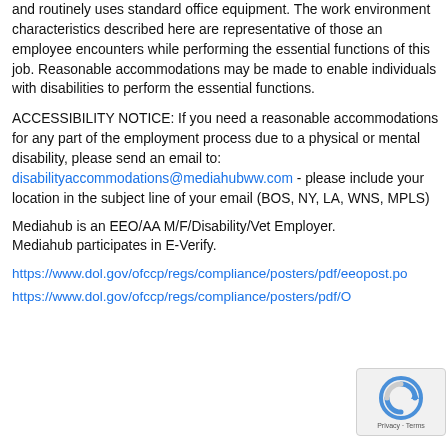and routinely uses standard office equipment. The work environment characteristics described here are representative of those an employee encounters while performing the essential functions of this job. Reasonable accommodations may be made to enable individuals with disabilities to perform the essential functions.
ACCESSIBILITY NOTICE: If you need a reasonable accommodations for any part of the employment process due to a physical or mental disability, please send an email to: disabilityaccommodations@mediahubww.com - please include your location in the subject line of your email (BOS, NY, LA, WNS, MPLS)
Mediahub is an EEO/AA M/F/Disability/Vet Employer.
Mediahub participates in E-Verify.
https://www.dol.gov/ofccp/regs/compliance/posters/pdf/eeopost.po
https://www.dol.gov/ofccp/regs/compliance/posters/pdf/O